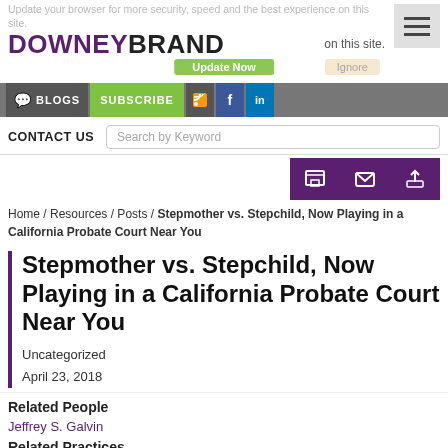Update your browser for more security, speed and the best experience on this site.
[Figure (logo): Downey Brand law firm logo with hamburger menu icon]
BLOGS | SUBSCRIBE | (RSS) (Facebook) (LinkedIn) | Update Now | Ignore
CONTACT US | Search by Keyword
[Figure (other): Purple share toolbar with print, email, and share icons]
Home / Resources / Posts / Stepmother vs. Stepchild, Now Playing in a California Probate Court Near You
Stepmother vs. Stepchild, Now Playing in a California Probate Court Near You
Uncategorized
April 23, 2018
Related People
Jeffrey S. Galvin
Related Practices